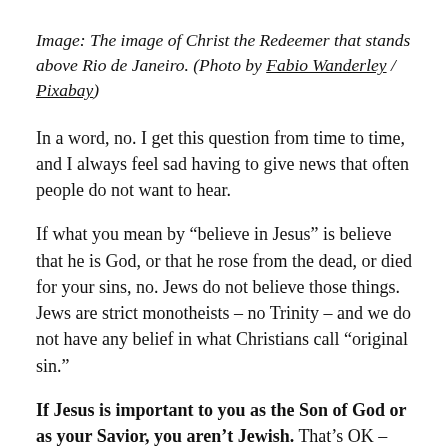Image: The image of Christ the Redeemer that stands above Rio de Janeiro. (Photo by Fabio Wanderley / Pixabay)
In a word, no. I get this question from time to time, and I always feel sad having to give news that often people do not want to hear.
If what you mean by “believe in Jesus” is believe that he is God, or that he rose from the dead, or died for your sins, no. Jews do not believe those things. Jews are strict monotheists – no Trinity – and we do not have any belief in what Christians call “original sin.”
If Jesus is important to you as the Son of God or as your Savior, you aren’t Jewish. That’s OK – we are happy for you to be a good Christian, and we hope you find a branch of Christianity that works for